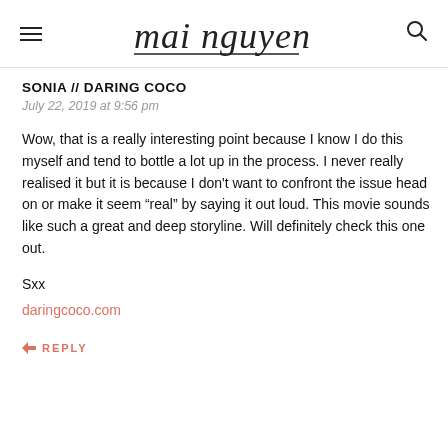mai nguyen
SONIA // DARING COCO
July 22, 2019 at 9:56 pm
Wow, that is a really interesting point because I know I do this myself and tend to bottle a lot up in the process. I never really realised it but it is because I don't want to confront the issue head on or make it seem “real” by saying it out loud. This movie sounds like such a great and deep storyline. Will definitely check this one out.
Sxx
daringcoco.com
REPLY